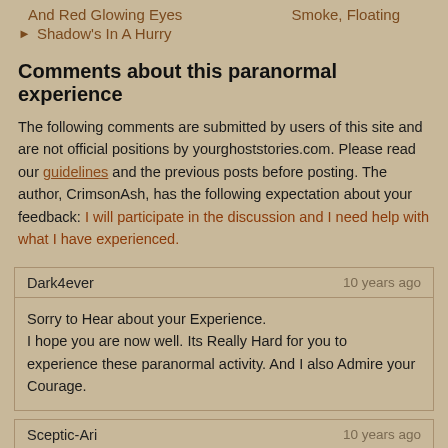And Red Glowing Eyes
Smoke, Floating
Shadow's In A Hurry
Comments about this paranormal experience
The following comments are submitted by users of this site and are not official positions by yourghoststories.com. Please read our guidelines and the previous posts before posting. The author, CrimsonAsh, has the following expectation about your feedback: I will participate in the discussion and I need help with what I have experienced.
Dark4ever
10 years ago
Sorry to Hear about your Experience.
I hope you are now well. Its Really Hard for you to experience these paranormal activity. And I also Admire your Courage.
Sceptic-Ari
10 years ago
Salam Alaykum...
1st of all, I feel sorry as you have to go through such hardships at such a young age.
I would request your parents to consider a Psychiatric Evaluation for you at the earliest. I am not calling you crazy or